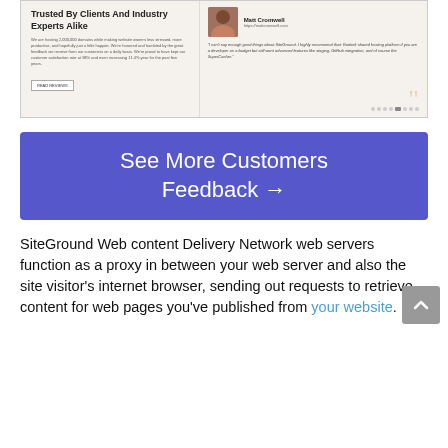[Figure (screenshot): Screenshot of SiteGround testimonials section titled 'Trusted By Clients And Industry Experts Alike' with a review from Matt Cromwell at https://mattcromwell.com]
[Figure (infographic): Blue call-to-action button reading 'See More Customers Feedback →']
SiteGround Web content Delivery Network web servers function as a proxy in between your web server and also the site visitor's internet browser, sending out requests to retrieve content for web pages you've published from your website.